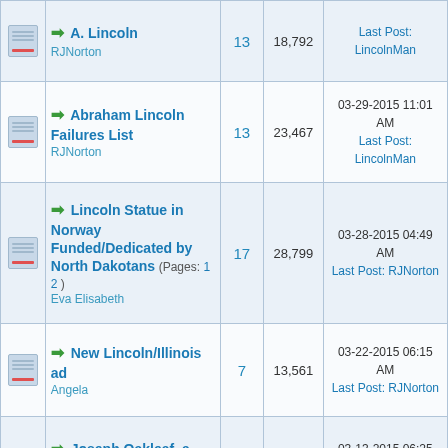|  | Thread Title | Replies | Views | Last Post |
| --- | --- | --- | --- | --- |
| [icon] | → A. Lincoln
RJNorton | 13 | 18,792 | Last Post: LincolnMan |
| [icon] | → Abraham Lincoln Failures List
RJNorton | 13 | 23,467 | 03-29-2015 11:01 AM
Last Post: LincolnMan |
| [icon] | → Lincoln Statue in Norway Funded/Dedicated by North Dakotans (Pages: 1 2)
Eva Elisabeth | 17 | 28,799 | 03-28-2015 04:49 AM
Last Post: RJNorton |
| [icon] | → New Lincoln/Illinois ad
Angela | 7 | 13,561 | 03-22-2015 06:15 AM
Last Post: RJNorton |
| [icon] | → Joseph Oakleaf, a "Big Five" Lincoln Collector
Tom Emery | 2 | 5,304 | 03-13-2015 06:25 PM
Last Post: LincolnMan |
| [icon] | → Commemorating Lincoln's Second… |  |  |  |